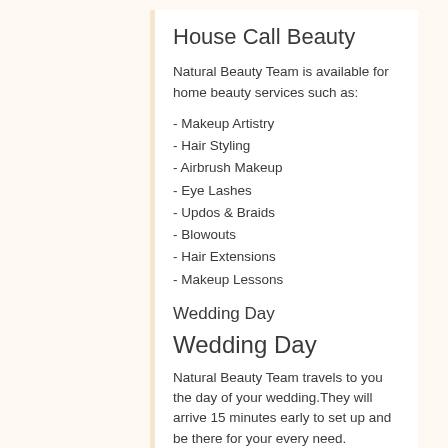House Call Beauty
Natural Beauty Team is available for home beauty services such as:
- Makeup Artistry
- Hair Styling
- Airbrush Makeup
- Eye Lashes
- Updos & Braids
- Blowouts
- Hair Extensions
- Makeup Lessons
Wedding Day
Wedding Day
Natural Beauty Team travels to you the day of your wedding. They will arrive 15 minutes early to set up and be there for your every need.
We are highly trained to make you feel